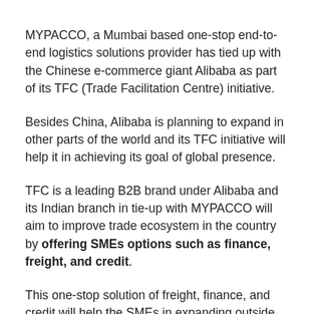MYPACCO, a Mumbai based one-stop end-to-end logistics solutions provider has tied up with the Chinese e-commerce giant Alibaba as part of its TFC (Trade Facilitation Centre) initiative.
Besides China, Alibaba is planning to expand in other parts of the world and its TFC initiative will help it in achieving its goal of global presence.
TFC is a leading B2B brand under Alibaba and its Indian branch in tie-up with MYPACCO will aim to improve trade ecosystem in the country by offering SMEs options such as finance, freight, and credit.
This one-stop solution of freight, finance, and credit will help the SMEs in expanding outside India without worrying about all these hassles.
"With the Trade Facilitation Center, Alibaba.com will be able to